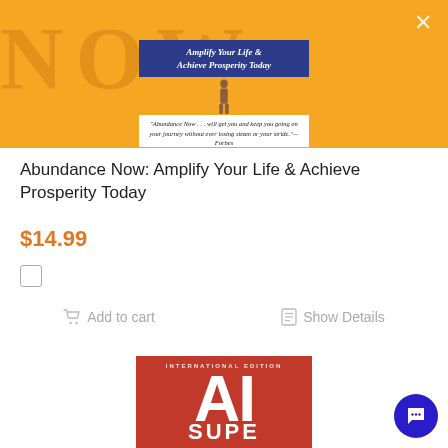[Figure (screenshot): Top orange banner with 'NOW' watermark text and partial book cover showing 'Amplify Your Life & Achieve Prosperity Today' blue banner, a person silhouette, and a quote in italic text]
Abundance Now: Amplify Your Life & Achieve Prosperity Today
$14.99
Add to cart
Show Details
[Figure (photo): Partial view of a red book cover labeled 'INTERNATIONAL EDITION' with large white 'AI' text and the beginning of the word 'SUPER' at the bottom]